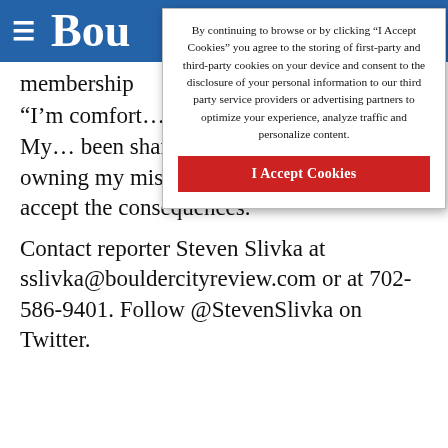Bou
By continuing to browse or by clicking “I Accept Cookies” you agree to the storing of first-party and third-party cookies on your device and consent to the disclosure of your personal information to our third party service providers or advertising partners to optimize your experience, analyze traffic and personalize content.
I Accept Cookies
membership
“I’m comfort… out, and I ho… same way. My… been sharing my successes and owning my mistakes, and I’m willing to accept the consequences.”
Contact reporter Steven Slivka at sslivka@bouldercityreview.com or at 702-586-9401. Follow @StevenSlivka on Twitter.